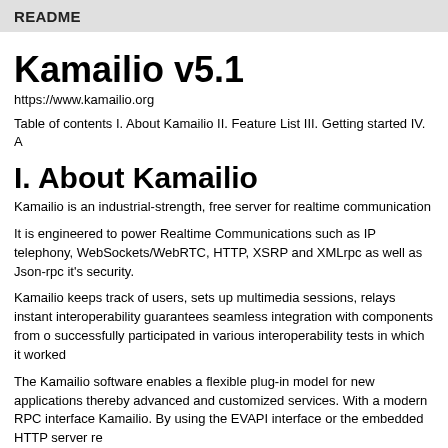README
Kamailio v5.1
https://www.kamailio.org
Table of contents I. About Kamailio II. Feature List III. Getting started IV. A
I. About Kamailio
Kamailio is an industrial-strength, free server for realtime communication
It is engineered to power Realtime Communications such as IP telephony, WebSockets/WebRTC, HTTP, XSRP and XMLrpc as well as Json-rpc it's security.
Kamailio keeps track of users, sets up multimedia sessions, relays instant interoperability guarantees seamless integration with components from o successfully participated in various interoperability tests in which it worked
The Kamailio software enables a flexible plug-in model for new applications thereby advanced and customized services. With a modern RPC interface Kamailio. By using the EVAPI interface or the embedded HTTP server re
Kamailio's performance and robustness allows it to serve millions of users the Kamailio server is able to power IP telephony services in an area as l